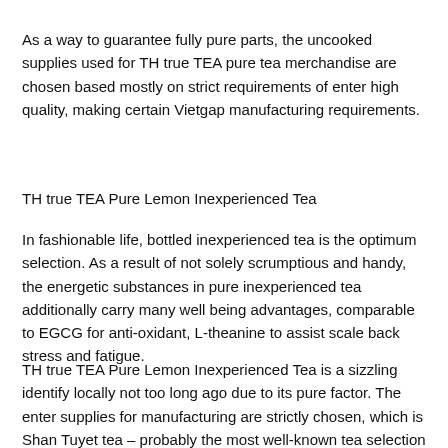As a way to guarantee fully pure parts, the uncooked supplies used for TH true TEA pure tea merchandise are chosen based mostly on strict requirements of enter high quality, making certain Vietgap manufacturing requirements.
TH true TEA Pure Lemon Inexperienced Tea
In fashionable life, bottled inexperienced tea is the optimum selection. As a result of not solely scrumptious and handy, the energetic substances in pure inexperienced tea additionally carry many well being advantages, comparable to EGCG for anti-oxidant, L-theanine to assist scale back stress and fatigue.
TH true TEA Pure Lemon Inexperienced Tea is a sizzling identify locally not too long ago due to its pure factor. The enter supplies for manufacturing are strictly chosen, which is Shan Tuyet tea – probably the most well-known tea selection in Vietnam, grown in Ha Giang plateau – the place the soil and